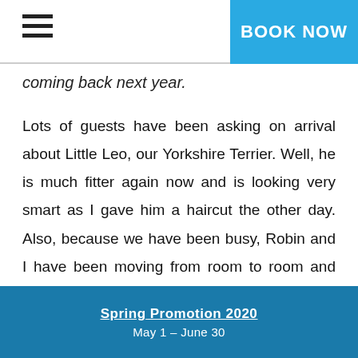BOOK NOW
coming back next year.
Lots of guests have been asking on arrival about Little Leo, our Yorkshire Terrier. Well, he is much fitter again now and is looking very smart as I gave him a haircut the other day. Also, because we have been busy, Robin and I have been moving from room to room and even had to move out of the hotel last week, but our own apartment will be ready for us again later today. We lived on site in the early days, then moved off site for about four and a half years and have been back again for nearly two years now. Being able to get to work in a flash and home in a moment makes life so much easier. I love our
Spring Promotion 2020
May 1 – June 30